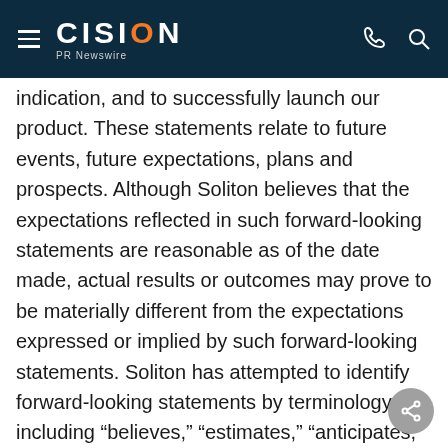CISION PR Newswire
indication, and to successfully launch our product. These statements relate to future events, future expectations, plans and prospects. Although Soliton believes that the expectations reflected in such forward-looking statements are reasonable as of the date made, actual results or outcomes may prove to be materially different from the expectations expressed or implied by such forward-looking statements. Soliton has attempted to identify forward-looking statements by terminology including "believes," "estimates," "anticipates," "expects," "plans," "projects," "intends," "potential," "may," "could," "might," "will," "would," "should," "approximately" or other words that convey